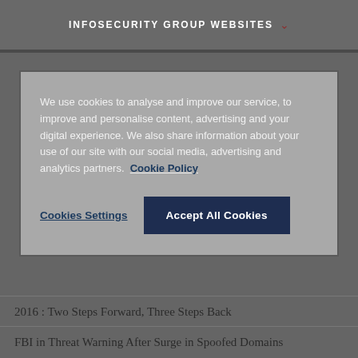INFOSECURITY GROUP WEBSITES
We use cookies to analyse and improve our service, to improve and personalise content, advertising and your digital experience. We also share information about your use of our site with our social media, advertising and analytics partners. Cookie Policy
Cookies Settings
Accept All Cookies
2016 : Two Steps Forward, Three Steps Back
FBI in Threat Warning After Surge in Spoofed Domains
#RSAC: How The FBI Caught Voice Phishing (Vishing) Scammers
FBI: Thailand and Hong Kong Banks Used Most in BEC